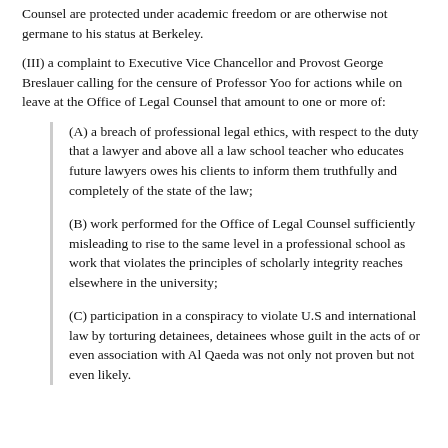Counsel are protected under academic freedom or are otherwise not germane to his status at Berkeley.
(III) a complaint to Executive Vice Chancellor and Provost George Breslauer calling for the censure of Professor Yoo for actions while on leave at the Office of Legal Counsel that amount to one or more of:
(A) a breach of professional legal ethics, with respect to the duty that a lawyer and above all a law school teacher who educates future lawyers owes his clients to inform them truthfully and completely of the state of the law;
(B) work performed for the Office of Legal Counsel sufficiently misleading to rise to the same level in a professional school as work that violates the principles of scholarly integrity reaches elsewhere in the university;
(C) participation in a conspiracy to violate U.S and international law by torturing detainees, detainees whose guilt in the acts of or even association with Al Qaeda was not only not proven but not even likely.